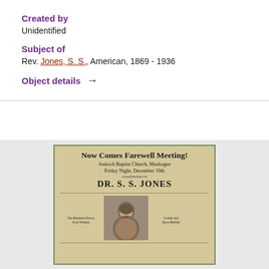Created by
Unidentified
Subject of
Rev. Jones, S. S., American, 1869 - 1936
Object details →
[Figure (photo): A historical flyer for a Farewell Meeting for DR. S. S. JONES at Antioch Baptist Church, Muskogee, Friday Night, December 19th. The flyer includes a portrait photograph of Dr. Jones and labels reading 'The Business Pastor, Soul-Winner,' on the left and 'Leader and Race-Builder' on the right.]